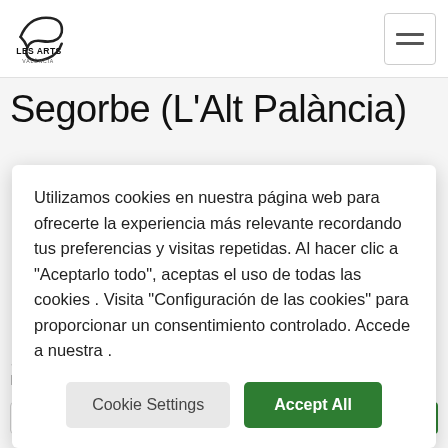Les Arts Valencia — navigation header with logo and hamburger menu
Segorbe (L'Alt Palància)
Utilizamos cookies en nuestra página web para ofrecerte la experiencia más relevante recordando tus preferencias y visitas repetidas. Al hacer clic a "Aceptarlo todo", aceptas el uso de todas las cookies . Visita "Configuración de las cookies" para proporcionar un consentimiento controlado. Accede a nuestra .
Cookie Settings | Accept All
Sign Up
Receive our newsletter, including special offers